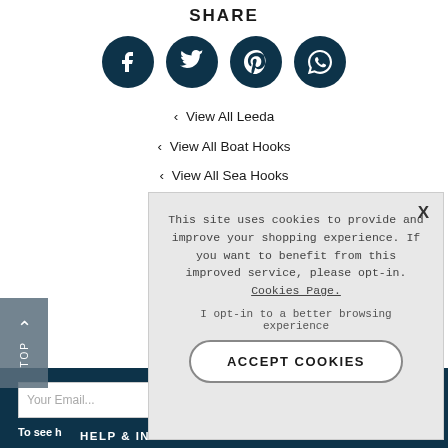SHARE
[Figure (illustration): Four dark teal circular social media icons: Facebook (f), Twitter (bird), Pinterest (P), WhatsApp (phone)]
View All Leeda
View All Boat Hooks
View All Sea Hooks
This site uses cookies to provide and improve your shopping experience. If you want to benefit from this improved service, please opt-in. Cookies Page.
I opt-in to a better browsing experience
ACCEPT COOKIES
Your Email...
To see h
HELP & INFORMATION